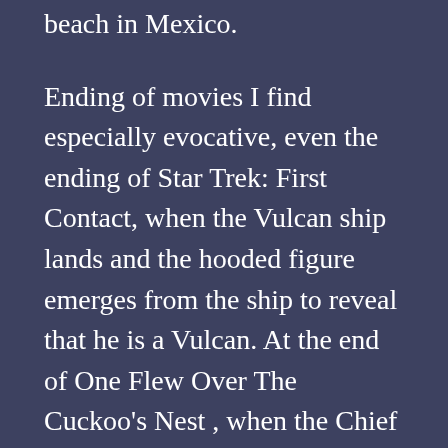beach in Mexico.
Ending of movies I find especially evocative, even the ending of Star Trek: First Contact, when the Vulcan ship lands and the hooded figure emerges from the ship to reveal that he is a Vulcan. At the end of One Flew Over The Cuckoo's Nest , when the Chief suffocates McMurphy and lifts the marble water fountain, smashing the window and walks off into the night. That last example is very poignant. It evokes within myself a desire to be truly free, I have caught a glimpse of freedom and